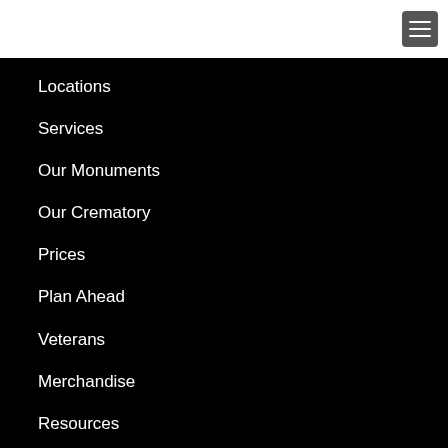[Figure (other): Hamburger menu button (three horizontal lines) in a grey rounded square, positioned in the top-right corner of a white header bar]
Locations
Services
Our Monuments
Our Crematory
Prices
Plan Ahead
Veterans
Merchandise
Resources
Questions & Answers